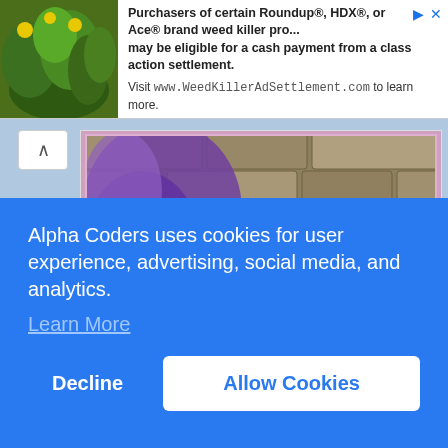[Figure (photo): Advertisement banner with plant/flower photo on left and text: 'Purchasers of certain Roundup®, HDX®, or Ace® brand weed killer pro... may be eligible for a cash payment from a class action settlement. Visit www.WeedKillerAdSettlement.com to learn more.']
[Figure (photo): Decorative image with purple flowers cascading over a stone wall, with text overlay in cursive 'Wonderful Weekend' in pink/purple. A flower pot with purple violets is at bottom right. Pink glitter border.]
Stay Safe
Alpha Coders uses cookies for user experience, advertising, social media, and analytics.
Learn More
Decline
Allow Cookies